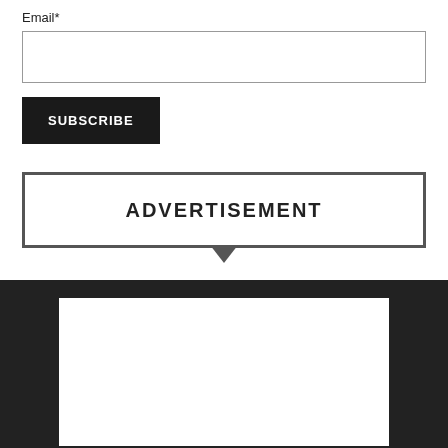Email*
[Figure (screenshot): Email input text field, empty, with grey border]
SUBSCRIBE
ADVERTISEMENT
[Figure (screenshot): Dark footer area with white rectangle box inside]